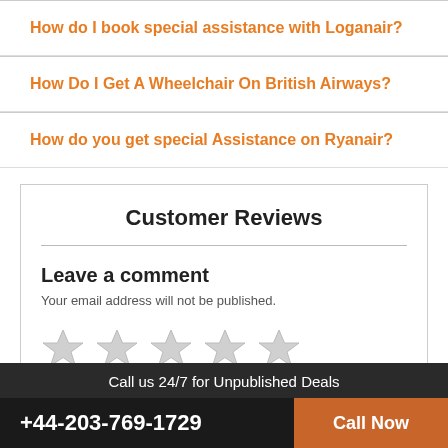How do I book special assistance with Loganair?
How Do I Get A Wheelchair On British Airways?
How do you get special Assistance on Ryanair?
Customer Reviews
Leave a comment
Your email address will not be published.
[Figure (other): Five empty star rating icons in a row]
Call us 24/7 for Unpublished Deals
+44-203-769-1729  Call Now